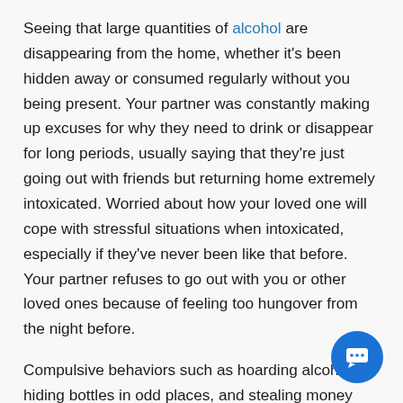Seeing that large quantities of alcohol are disappearing from the home, whether it's been hidden away or consumed regularly without you being present. Your partner was constantly making up excuses for why they need to drink or disappear for long periods, usually saying that they're just going out with friends but returning home extremely intoxicated. Worried about how your loved one will cope with stressful situations when intoxicated, especially if they've never been like that before. Your partner refuses to go out with you or other loved ones because of feeling too hungover from the night before.
Compulsive behaviors such as hoarding alcohol, hiding bottles in odd places, and stealing money from friends or family members so that you can afford more drinks. You experience withdrawal symptoms when not consuming alcoholic beverages for an extended period; this is often the case after participating in festivities involving lots of partying. It feels like life revolves around finding opportunities to drink with others, whether at
[Figure (other): Blue circular chat bubble icon in bottom-right corner]